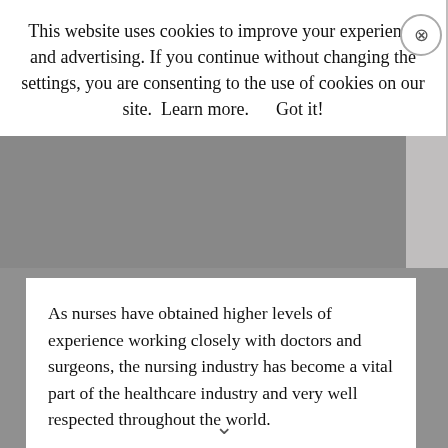This website uses cookies to improve your experience and advertising. If you continue without changing the settings, you are consenting to the use of cookies on our site.  Learn more.      Got it!
As nurses have obtained higher levels of experience working closely with doctors and surgeons, the nursing industry has become a vital part of the healthcare industry and very well respected throughout the world.
The article was written by Kara Masterson, a freelance writer hailing from Utah, United States.
[Figure (infographic): Social media share buttons: Facebook (dark blue), Twitter (light blue), LinkedIn (dark blue), Pinterest (dark red), Reddit (orange), and two partial orange buttons below.]